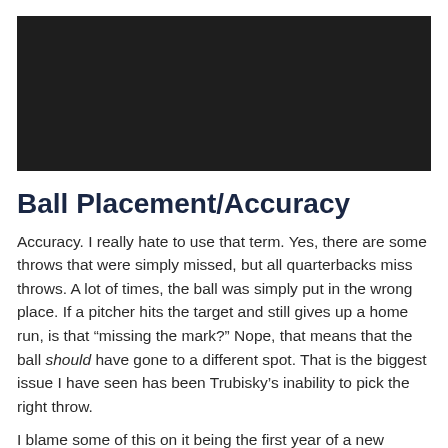[Figure (photo): Dark/black image placeholder at top of page]
Ball Placement/Accuracy
Accuracy. I really hate to use that term. Yes, there are some throws that were simply missed, but all quarterbacks miss throws. A lot of times, the ball was simply put in the wrong place. If a pitcher hits the target and still gives up a home run, is that “missing the mark?” Nope, that means that the ball should have gone to a different spot. That is the biggest issue I have seen has been Trubisky’s inability to pick the right throw.
I blame some of this on it being the first year of a new offensive system, a large part on simply being on the same...